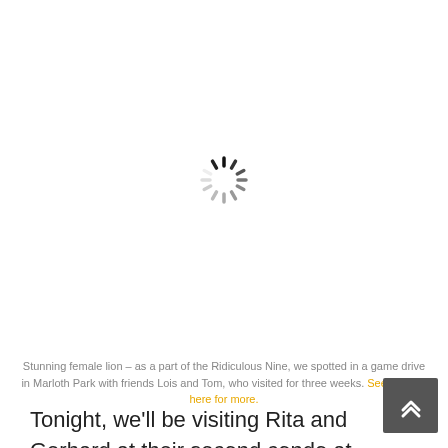[Figure (other): Loading spinner icon — a circular arrangement of radial dashes in varying shades of gray/black, like a throbber/activity indicator, centered in the upper portion of the page over a white background.]
Stunning female lion – as a part of the Ridiculous Nine, we spotted in a game drive in Marloth Park with friends Lois and Tom, who visited for three weeks. See this link here for more.
Tonight, we'll be visiting Rita and Gerhard at their second condo at Ngwenya where they're staying until